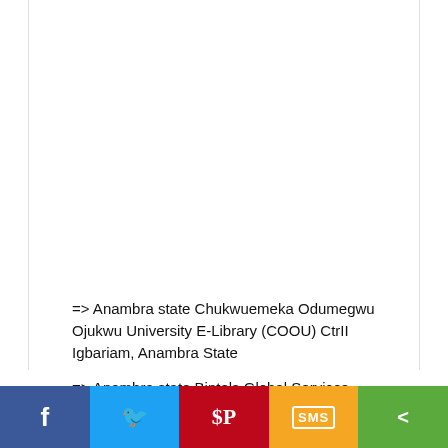=> Anambra state Chukwuemeka Odumegwu Ojukwu University E-Library (COOU) CtrII Igbariam, Anambra State
=> Anambra state Bintels Global Services LTD.(Centre for Computer Education), Fr. Joseph Memorial High Sch. Aguleri, Anambra State